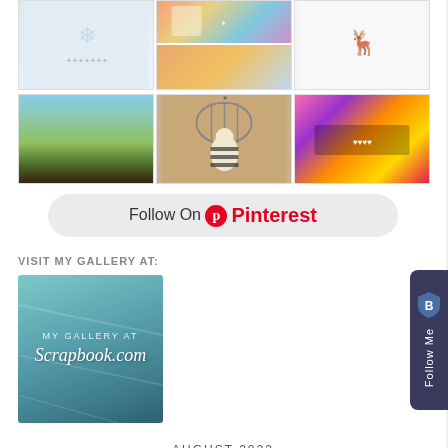[Figure (photo): Pinterest image grid with 6 craft/art images: snowflake card, colorful art, deer sketch, landscape painting, 'Be Strong' doll figurine, pink abstract art]
[Figure (other): Follow On Pinterest button with Pinterest logo]
VISIT MY GALLERY AT:
[Figure (logo): Teal/blue gallery image with text 'MY GALLERY AT Scrapbook.com']
AUGUST 2022
M  T  W  T  F  S  S